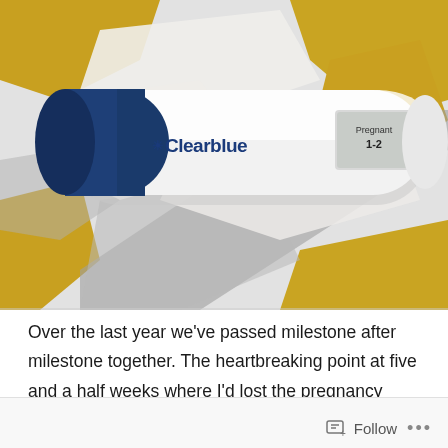[Figure (photo): A Clearblue digital pregnancy test resting on a white, yellow, and grey geometric patterned bedsheet/duvet. The test display reads 'Pregnant 1-2'. The test has a dark navy blue cap on the left end and white body with the Clearblue logo.]
Over the last year we've passed milestone after milestone together. The heartbreaking point at five and a half weeks where I'd lost the pregnancy before. Our 12 week scan, attended by myself while your dad sat nervously outside.
Follow ...